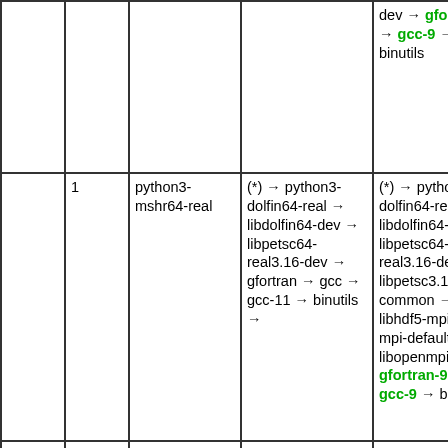|  |  |  |  | dev → gfortran-9 → gcc-9 → binutils |
|  | 1 | python3-mshr64-real | (*) → python3-dolfin64-real → libdolfin64-dev → libpetsc64-real3.16-dev → gfortran → gcc → gcc-11 → binutils → | (*) → python3-dolfin64-real → libdolfin64-dev → libpetsc64-real3.16-dev → libpetsc3.16-dev-common → libhdf5-mpi-dev → mpi-default-dev → libopenmpi-dev → gfortran-9 → gcc-9 → binutils |
|  |  |  |  |  |